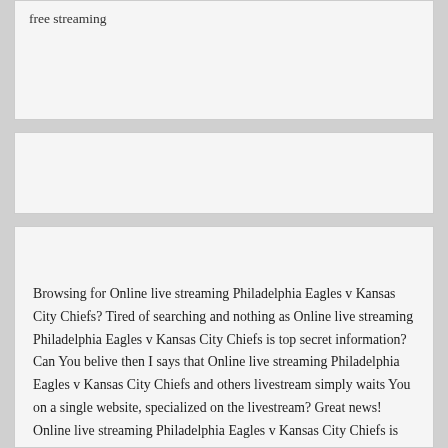4. If you're a registered Scouts user, enjoy the live free streaming
Browsing for Online live streaming Philadelphia Eagles v Kansas City Chiefs? Tired of searching and nothing as Online live streaming Philadelphia Eagles v Kansas City Chiefs is top secret information? Can You belive then I says that Online live streaming Philadelphia Eagles v Kansas City Chiefs and others livestream simply waits You on a single website, specialized on the livestream? Great news! Online live streaming Philadelphia Eagles v Kansas City Chiefs is no longer a problem! On air Philadelphia Eagles v Kansas City Chiefs on Yours perconal computers desktop. Don't miss epic battle between Philadelphia Eagles v Kansas City Chiefs online! Relax and have a rest – enjoy Online live streaming Philadelphia Eagles v Kansas City Chiefs and have a rest